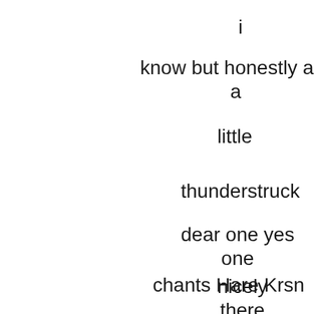i
know but honestly are
a
little
thunderstruck
dear one yes
one
chants Hare Krsn
nicely
there